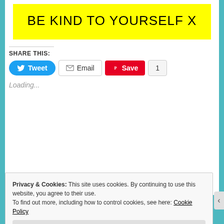BE KIND TO YOURSELF X
SHARE THIS:
[Figure (screenshot): Social share buttons: Tweet (Twitter, blue pill button), Email (grey outlined button with envelope icon), Save (Pinterest, red button with P icon), and a count badge showing 1]
Loading...
Privacy & Cookies: This site uses cookies. By continuing to use this website, you agree to their use.
To find out more, including how to control cookies, see here: Cookie Policy
Close and accept